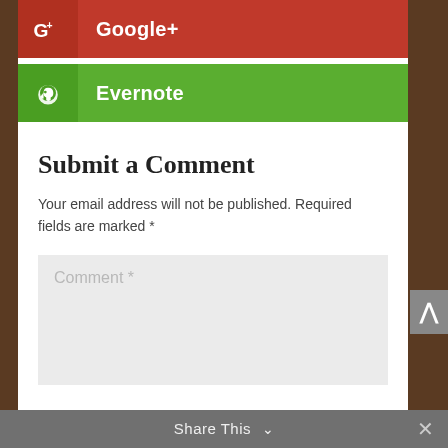[Figure (screenshot): Google+ share button: red button with G+ icon and 'Google+' label in white]
[Figure (screenshot): Evernote share button: green button with Evernote elephant icon and 'Evernote' label in white]
Submit a Comment
Your email address will not be published. Required fields are marked *
Comment *
Share This